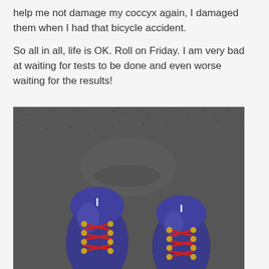help me not damage my coccyx again, I damaged them when I had that bicycle accident.
So all in all, life is OK. Roll on Friday. I am very bad at waiting for tests to be done and even worse waiting for the results!
[Figure (photo): A top-down photo of two blue running shoes with red laces and yellow/gold eyelets, standing on a dark grey textured carpet or surface.]